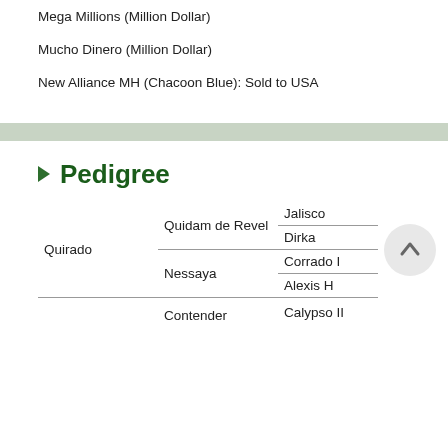Mega Millions (Million Dollar)
Mucho Dinero (Million Dollar)
New Alliance MH (Chacoon Blue): Sold to USA
Pedigree
| Sire | Grandsire | Great-Grandsire |
| --- | --- | --- |
| Quirado | Quidam de Revel | Jalisco |
|  |  | Dirka |
|  | Nessaya | Corrado I |
|  |  | Alexis H |
|  | Contender | Calypso II |